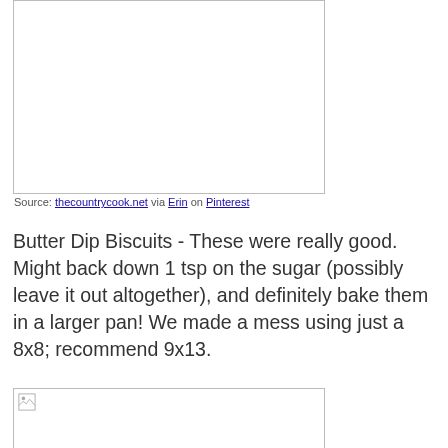[Figure (photo): Image placeholder box at top of page (white rectangle with border)]
Source: thecountrycook.net via Erin on Pinterest
Butter Dip Biscuits - These were really good. Might back down 1 tsp on the sugar (possibly leave it out altogether), and definitely bake them in a larger pan! We made a mess using just a 8x8; recommend 9x13.
[Figure (photo): Second image placeholder box at bottom of page (white rectangle with border, small broken image icon visible)]